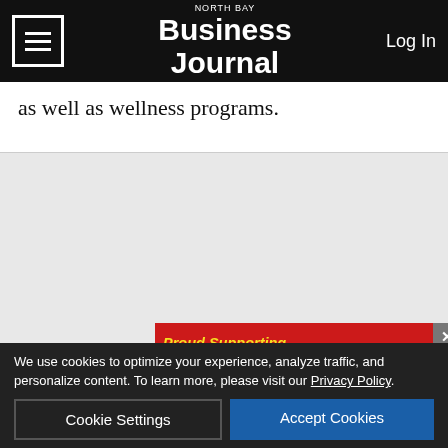NORTH BAY Business Journal | Log In
as well as wellness programs.
[Figure (other): Gray advertisement placeholder area]
In 2019, the bank supported more than 350 local nonprofits and volunteered with over 7,000 hours for charitable organizations in the North Bay. BOM gives each em... h 50%/... d
[Figure (other): Ghilotti Construction Company advertisement overlay: Proud Supporting Sponsor 2022 Youth Service Awards]
We use cookies to optimize your experience, analyze traffic, and personalize content. To learn more, please visit our Privacy Policy.
Cookie Settings | Accept Cookies